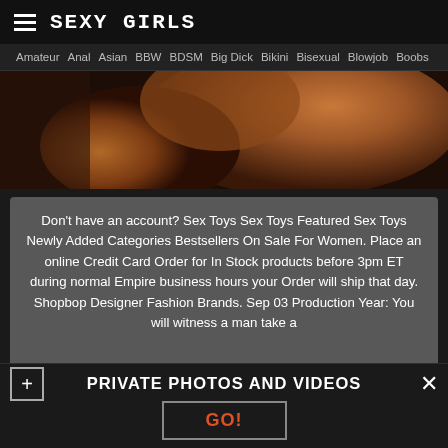SEXY GIRLS
Amateur  Anal  Asian  BBW  BDSM  Big Dick  Bikini  Bisexual  Blowjob  Boobs
[Figure (photo): Close-up photo of a brown/tan rounded sculptural object]
Don't have an account? Sex Toys Sex Toys Featured Sex Toys Newly Added Categories Bestsellers On Sale For Women. Place an online Credit Card Order for In Stock products before 3pm ET during normal Empire business hours your Order will ship that day. Shopbop Designer Fashion Brands. Sep 03 Production Year: You will witness a man take a
PRIVATE PHOTOS AND VIDEOS
GO!